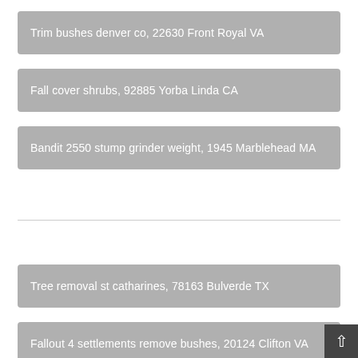Trim bushes denver co, 22630 Front Royal VA
Fall cover shrubs, 92885 Yorba Linda CA
Bandit 2550 stump grinder weight, 1945 Marblehead MA
Tree removal st catharines, 78163 Bulverde TX
Fallout 4 settlements remove bushes, 20124 Clifton VA
Small tree removal service near me, 10549 Mount Kisco NY
Bush root removal service, 92801 Anaheim CA